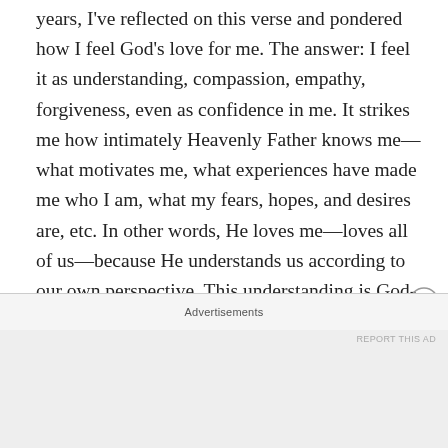years, I've reflected on this verse and pondered how I feel God's love for me. The answer: I feel it as understanding, compassion, empathy, forgiveness, even as confidence in me. It strikes me how intimately Heavenly Father knows me—what motivates me, what experiences have made me who I am, what my fears, hopes, and desires are, etc. In other words, He loves me—loves all of us—because He understands us according to our own perspective. This understanding is God-like love. And it feels good; it feels safe. Our response, once we feel the love of God, is to return that love to Him.
Put otherwise, John is teaching us that, to love as Christ
Advertisements